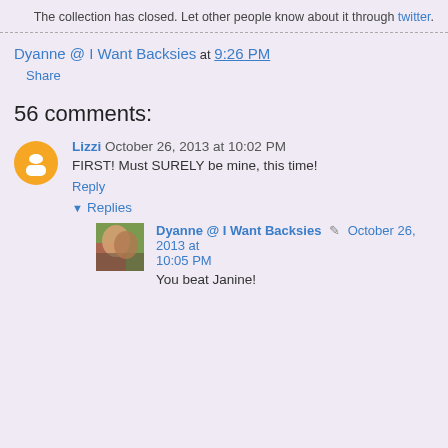The collection has closed. Let other people know about it through twitter.
Dyanne @ I Want Backsies at 9:26 PM
Share
56 comments:
Lizzi October 26, 2013 at 10:02 PM
FIRST! Must SURELY be mine, this time!
Reply
Replies
Dyanne @ I Want Backsies October 26, 2013 at 10:05 PM
You beat Janine!